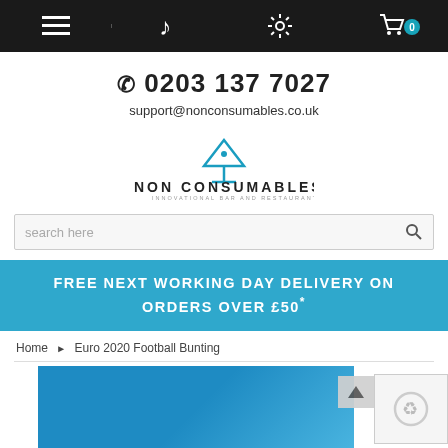Navigation bar with menu, music, settings, and cart icons
📞 0203 137 7027
support@nonconsumables.co.uk
[Figure (logo): Non Consumables logo with martini glass icon and text NON CONSUMABLES / INNOVATIONAL BAR AND RESTAURANT PRODUCTS]
search here
FREE NEXT WORKING DAY DELIVERY ON ORDERS OVER £50*
Home ▶ Euro 2020 Football Bunting
[Figure (photo): Blue product image area partially showing Euro 2020 Football Bunting product]
SHOW SIDEBAR +